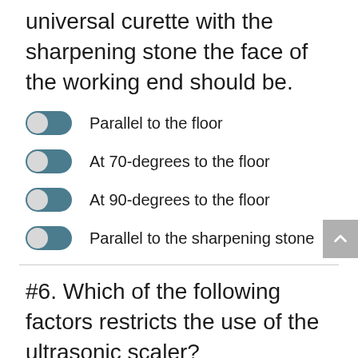universal curette with the sharpening stone the face of the working end should be.
Parallel to the floor
At 70-degrees to the floor
At 90-degrees to the floor
Parallel to the sharpening stone
#6. Which of the following factors restricts the use of the ultrasonic scaler?